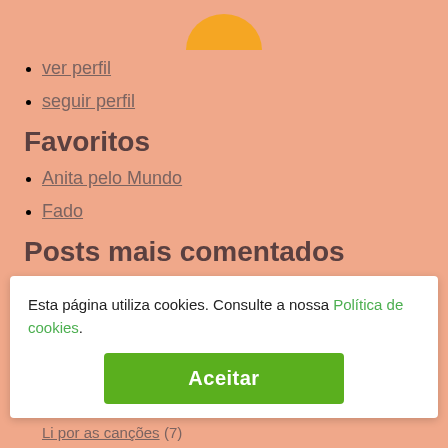[Figure (illustration): Partial orange circular avatar image cropped at top]
ver perfil
seguir perfil
Favoritos
Anita pelo Mundo
Fado
Posts mais comentados
A herdeira #5 | The heire… (7)
Piratas no porto | Pirate… (7)
Neve (7)
Na estação (6)
Esta página utiliza cookies. Consulte a nossa Política de cookies.
Aceitar
Li por as canções (?)